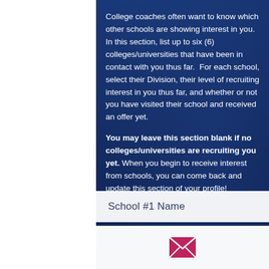College coaches often want to know which other schools are showing interest in you. In this section, list up to six (6) colleges/universities that have been in contact with you thus far.  For each school, select their Division, their level of recruiting interest in you thus far, and whether or not you have visited their school and received an offer yet.

You may leave this section blank if no colleges/universities are recruiting you yet. When you begin to receive interest from schools, you can come back and update this section of your profile!
School #1 Name
[Figure (illustration): Email envelope icon in pink/magenta color, bottom center of page]